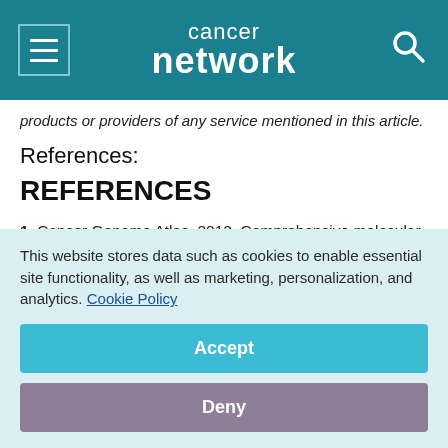cancer network
products or providers of any service mentioned in this article.
References:
REFERENCES
1. Cancer Genome Atlas. 2012. Comprehensive molecular portraits of human breast tumours. Nature. 2012;490:61-70.
This website stores data such as cookies to enable essential site functionality, as well as marketing, personalization, and analytics. Cookie Policy
Accept
Deny